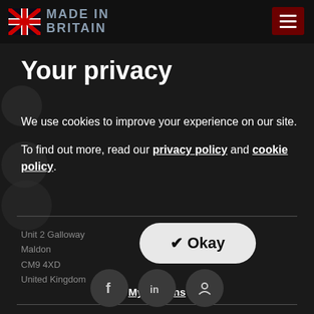MADE IN BRITAIN
Your privacy
We use cookies to improve your experience on our site.

To find out more, read our privacy policy and cookie policy.
Unit 2 Galloway
Maldon
CM9 4XD
United Kingdom
Okay
My Options